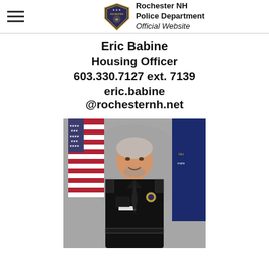Rochester NH Police Department Official Website
Eric Babine
Housing Officer
603.330.7127 ext. 7139
eric.babine
@rochesternh.net
[Figure (photo): Official police portrait photo of Eric Babine, Housing Officer, wearing black police uniform with badge, standing in front of an American flag and New Hampshire state flag against a gray background.]